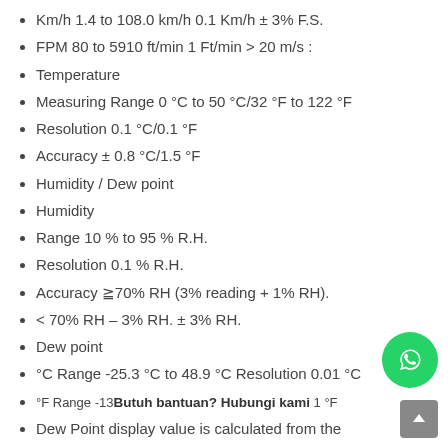Km/h 1.4 to 108.0 km/h 0.1 Km/h ± 3% F.S.
FPM 80 to 5910 ft/min 1 Ft/min > 20 m/s :
Temperature
Measuring Range 0 °C to 50 °C/32 °F to 122 °F
Resolution 0.1 °C/0.1 °F
Accuracy ± 0.8 °C/1.5 °F
Humidity / Dew point
Humidity
Range 10 % to 95 % R.H.
Resolution 0.1 % R.H.
Accuracy ≧70% RH (3% reading + 1% RH).
< 70% RH – 3% RH. ± 3% RH.
Dew point
°C Range -25.3 °C to 48.9 °C Resolution 0.01 °C
°F Range -13 °F to 120.0 °F Resolution 0.01 °F
Dew Point display value is calculated from the
Humidity/Temp. measurement automatically